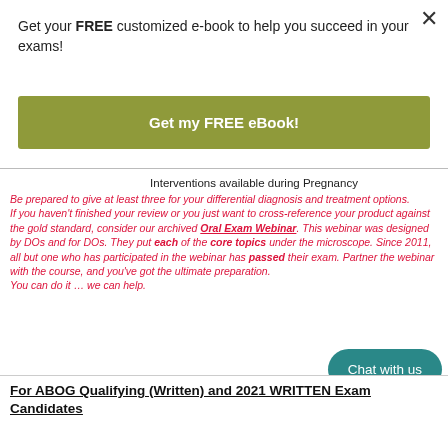Get your FREE customized e-book to help you succeed in your exams!
Get my FREE eBook!
Interventions available during Pregnancy
Be prepared to give at least three for your differential diagnosis and treatment options.
If you haven't finished your review or you just want to cross-reference your product against the gold standard, consider our archived Oral Exam Webinar. This webinar was designed by DOs and for DOs. They put each of the core topics under the microscope. Since 2011, all but one who has participated in the webinar has passed their exam. Partner the webinar with the course, and you've got the ultimate preparation.
You can do it … we can help.
For ABOG Qualifying (Written) and 2021 WRITTEN Exam Candidates